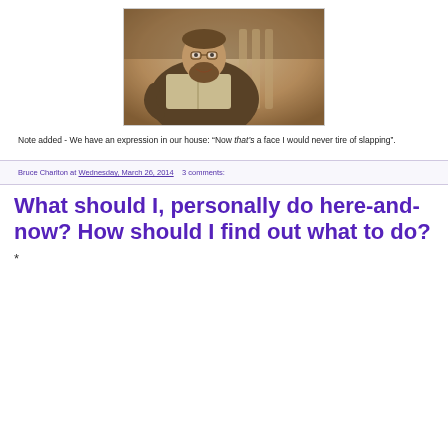[Figure (photo): Sepia-toned vintage photograph of a bearded man sitting in a deck chair outdoors, holding an open book, smiling at the camera, with foliage in the background.]
Note added - We have an expression in our house: “Now that’s a face I would never tire of slapping”.
Bruce Charlton at Wednesday, March 26, 2014    3 comments:
What should I, personally do here-and-now? How should I find out what to do?
*